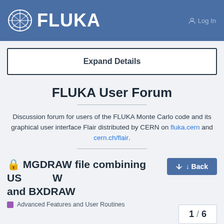FLUKA
Expand Details
FLUKA User Forum
Discussion forum for users of the FLUKA Monte Carlo code and its graphical user interface Flair distributed by CERN on fluka.cern and cern.ch/flair.
🔒 MGDRAW file combining USERDUMP and BXDRAW
Advanced Features and User Routines
1 / 6